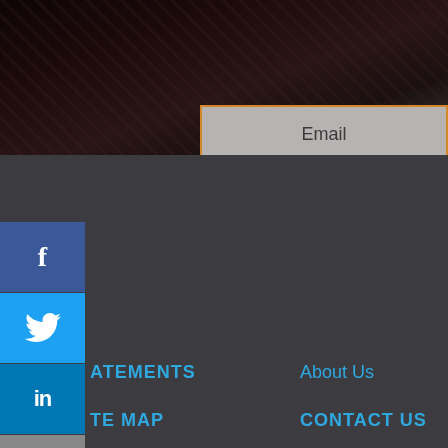[Figure (screenshot): Email input field with orange border on dark textured background]
Email
[Figure (infographic): Facebook social media button (blue square with f icon)]
[Figure (infographic): Twitter social media button (light blue square with bird icon)]
[Figure (infographic): LinkedIn social media button (dark blue square with in icon)]
[Figure (infographic): Add/share button (gray square with plus icon)]
ATEMENTS
About Us
TE MAP
CONTACT US
12 Martiros Saryan St, 3rd floor, Yerevan, Armenia, 0002
+37412 755898, +37499 755 898